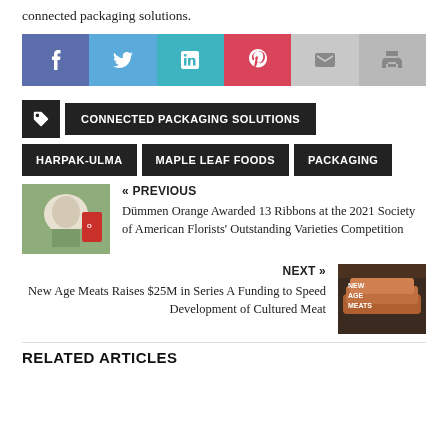connected packaging solutions.
[Figure (infographic): Social media sharing buttons: Facebook (blue-purple), Twitter (light blue), LinkedIn (teal), Pinterest (red), Email (light grey), Print (grey)]
CONNECTED PACKAGING SOLUTIONS | HARPAK-ULMA | MAPLE LEAF FOODS | PACKAGING
« PREVIOUS
Dümmen Orange Awarded 13 Ribbons at the 2021 Society of American Florists' Outstanding Varieties Competition

NEXT »
New Age Meats Raises $25M in Series A Funding to Speed Development of Cultured Meat
RELATED ARTICLES